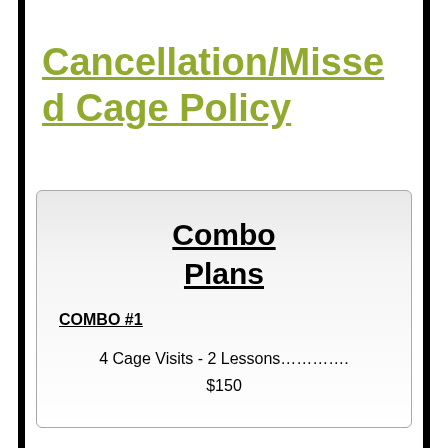Cancellation/Missed Cage Policy
Combo Plans
COMBO #1
4 Cage Visits - 2 Lessons.............. $150